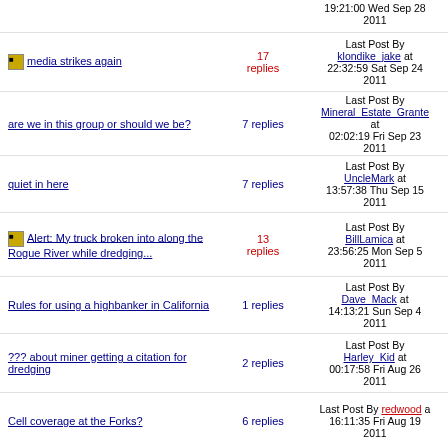media strikes again | 17 replies | Last Post By klondike_jake at 22:32:59 Sat Sep 24 2011
are we in this group or should we be? | 7 replies | Last Post By Mineral_Estate_Grante at 02:02:19 Fri Sep 23 2011
quiet in here | 7 replies | Last Post By UncleMark at 13:57:38 Thu Sep 15 2011
Alert: My truck broken into along the Rogue River while dredging... | 13 replies | Last Post By BillLamica at 23:56:25 Mon Sep 5 2011
Rules for using a highbanker in California | 1 replies | Last Post By Dave_Mack at 14:13:21 Sun Sep 4 2011
??? about miner getting a citation for dredging | 2 replies | Last Post By Harley_Kid at 00:17:58 Fri Aug 26 2011
Cell coverage at the Forks? | 6 replies | Last Post By redwood at 16:11:35 Fri Aug 19 2011
claims info. | 10 replies | Last Post By riverwatcher at 15:20:06 Wed Aug 10 2011